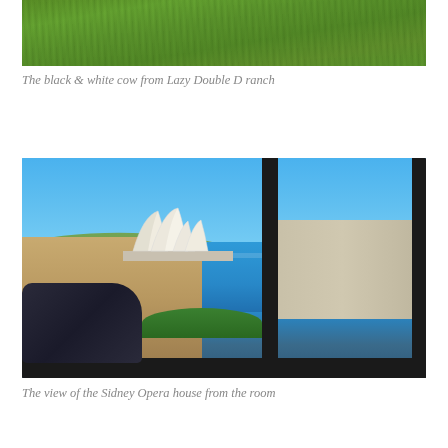[Figure (photo): Partial photo of grassy field (cow photo cropped at top of page), showing green grass]
The black & white cow from Lazy Double D ranch
[Figure (photo): View of the Sydney Opera House from a hotel room window, showing the harbor with blue water, city buildings, and a pillow in the foreground]
The view of the Sidney Opera house from the room